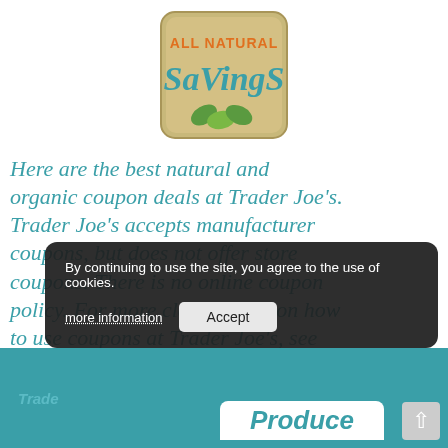[Figure (logo): All Natural Savings logo — tan/khaki square badge with orange text 'ALL NATURAL' and teal stylized text 'SaVingS' with green leaf graphics at the bottom]
Here are the best natural and organic coupon deals at Trader Joe's. Trader Joe's accepts manufacturer coupons, but does not offer store coupons. There is no online coupon policy. For more clarification on how to use coupons at Trader Joe's, see my post here. Prices and products may vary per store. New to couponing? Go here.
By continuing to use the site, you agree to the use of cookies.
more information   Accept
Trader Joe's